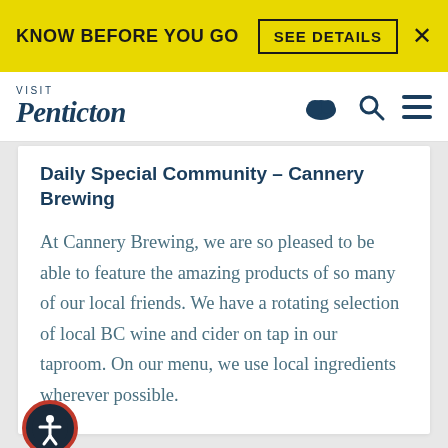KNOW BEFORE YOU GO   SEE DETAILS   ×
VISIT Penticton
Daily Special Community – Cannery Brewing
At Cannery Brewing, we are so pleased to be able to feature the amazing products of so many of our local friends. We have a rotating selection of local BC wine and cider on tap in our taproom. On our menu, we use local ingredients wherever possible.